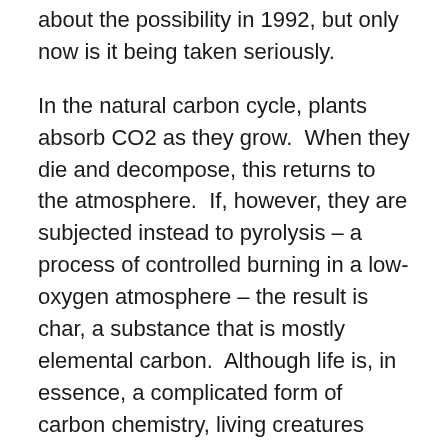about the possibility in 1992, but only now is it being taken seriously.
In the natural carbon cycle, plants absorb CO2 as they grow.  When they die and decompose, this returns to the atmosphere.  If, however, they are subjected instead to pyrolysis – a process of controlled burning in a low-oxygen atmosphere – the result is char, a substance that is mostly elemental carbon.  Although life is, in essence, a complicated form of carbon chemistry, living creatures cannot process carbon in its elemental form.  Charcoal, therefore, does not decay very fast.  Bury it in the soil, and it will stay there.  Some of the terra preta is thousands of years old.
Moreover, soil containing biochar releases less methane and less nitrous oxide than its untreated counterparts,